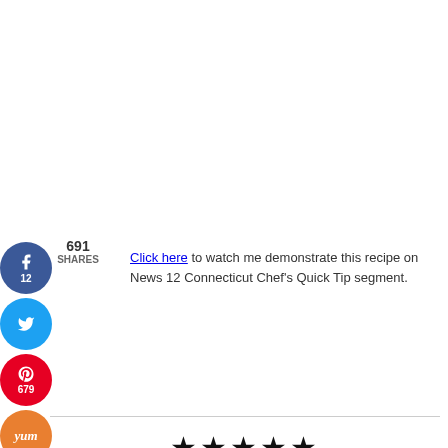Click here to watch me demonstrate this recipe on News 12 Connecticut Chef's Quick Tip segment.
[Figure (infographic): Five filled black stars rating]
5 from 1 vote
Print
Instant Pot Red Wine Pot Roast (Paleo, Whole 30)
Course Main Course
Prep Time 15 minutes
Cook Time 1 hour 15 minutes